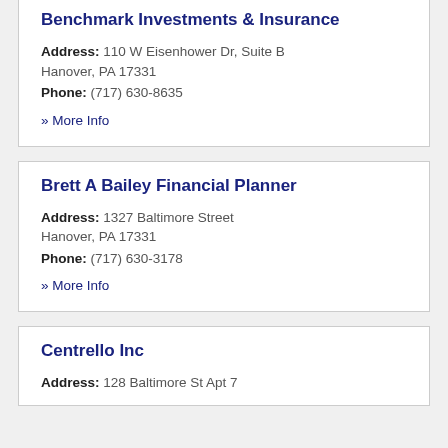Benchmark Investments & Insurance
Address: 110 W Eisenhower Dr, Suite B Hanover, PA 17331
Phone: (717) 630-8635
» More Info
Brett A Bailey Financial Planner
Address: 1327 Baltimore Street Hanover, PA 17331
Phone: (717) 630-3178
» More Info
Centrello Inc
Address: 128 Baltimore St Apt 7